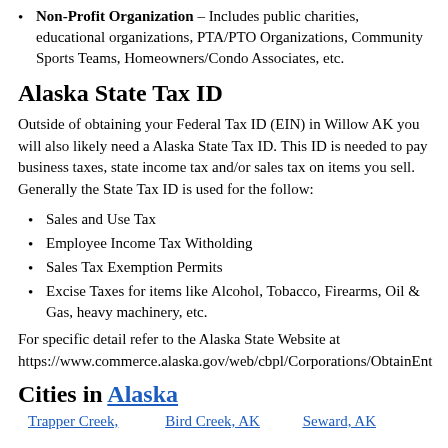Non-Profit Organization – Includes public charities, educational organizations, PTA/PTO Organizations, Community Sports Teams, Homeowners/Condo Associates, etc.
Alaska State Tax ID
Outside of obtaining your Federal Tax ID (EIN) in Willow AK you will also likely need a Alaska State Tax ID. This ID is needed to pay business taxes, state income tax and/or sales tax on items you sell. Generally the State Tax ID is used for the follow:
Sales and Use Tax
Employee Income Tax Witholding
Sales Tax Exemption Permits
Excise Taxes for items like Alcohol, Tobacco, Firearms, Oil & Gas, heavy machinery, etc.
For specific detail refer to the Alaska State Website at https://www.commerce.alaska.gov/web/cbpl/Corporations/ObtainEnt
Cities in Alaska
Trapper Creek,   Bird Creek, AK   Seward, AK